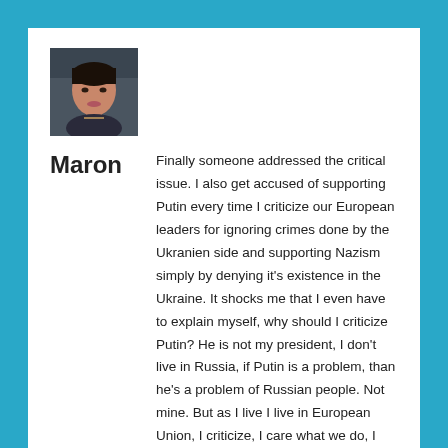[Figure (photo): Profile photo of a woman, small square thumbnail]
Maron
Finally someone addressed the critical issue. I also get accused of supporting Putin every time I criticize our European leaders for ignoring crimes done by the Ukranien side and supporting Nazism simply by denying it's existence in the Ukraine. It shocks me that I even have to explain myself, why should I criticize Putin? He is not my president, I don't live in Russia, if Putin is a problem, than he's a problem of Russian people. Not mine. But as I live I live in European Union, I criticize, I care what we do, I care about practising democracy in the real sense and meaning of the word. I'm horrified by Nazism and if that madness spreads on our countries it will be my worst nightmares coming true. Sometimes I get a feeling people don't quite understand or have forgotten the horror of Nazism ideologie. It's monstrous and inhuman. That being said, the fact media and European